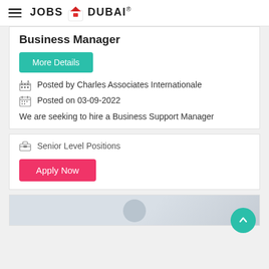JOBS IN DUBAI
Business Manager
More Details
Posted by Charles Associates Internationale
Posted on 03-09-2022
We are seeking to hire a Business Support Manager
Senior Level Positions
Apply Now
[Figure (photo): Partially visible image card at the bottom of the page]